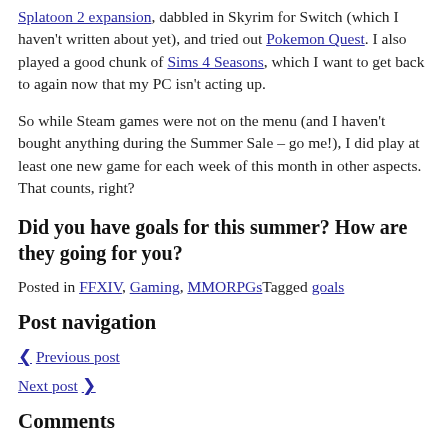Splatoon 2 expansion, dabbled in Skyrim for Switch (which I haven't written about yet), and tried out Pokemon Quest. I also played a good chunk of Sims 4 Seasons, which I want to get back to again now that my PC isn't acting up.
So while Steam games were not on the menu (and I haven't bought anything during the Summer Sale – go me!), I did play at least one new game for each week of this month in other aspects. That counts, right?
Did you have goals for this summer? How are they going for you?
Posted in FFXIV, Gaming, MMORPGs Tagged goals
Post navigation
< Previous post
Next post >
Comments